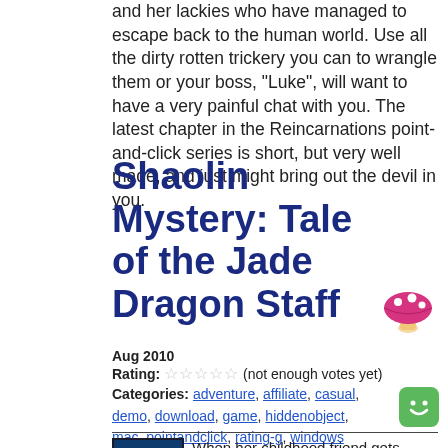and her lackies who have managed to escape back to the human world. Use all the dirty rotten trickery you can to wrangle them or your boss, "Luke", will want to have a very painful chat with you. The latest chapter in the Reincarnations point-and-click series is short, but very well made, and just might bring out the devil in you.
Shaolin Mystery: Tale of the Jade Dragon Staff
[Figure (illustration): Pink mushroom emoji/icon]
Aug 2010
Rating: ☆☆☆☆☆ (not enough votes yet)
Categories: adventure, affiliate, casual, demo, download, game, hiddenobject, mac, pointandclick, rating-g, windows
[Figure (illustration): Green smiley face icon]
[Figure (illustration): Shaolin Mystery game thumbnail]
When her childhood friend gets locked up by the evil emperor, Yu sets off in a journey through ruined towns, haunted woods, underwater palaces and alternative realities where snails fly in this brand new hidden object/adventure game!